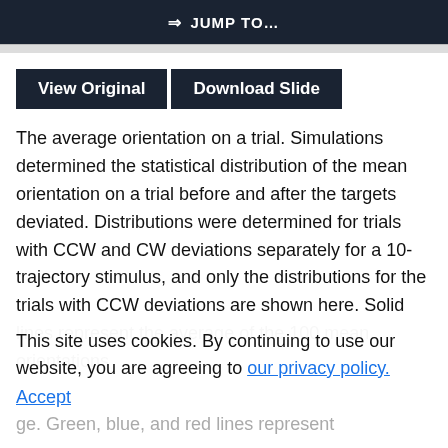⇒ JUMP TO…
View Original   Download Slide
The average orientation on a trial. Simulations determined the statistical distribution of the mean orientation on a trial before and after the targets deviated. Distributions were determined for trials with CCW and CW deviations separately for a 10-trajectory stimulus, and only the distributions for the trials with CCW deviations are shown here. Solid lines represent the average of the 100 mean orientations
This site uses cookies. By continuing to use our website, you are agreeing to our privacy policy. Accept
age. Green, blue, and red lines represent